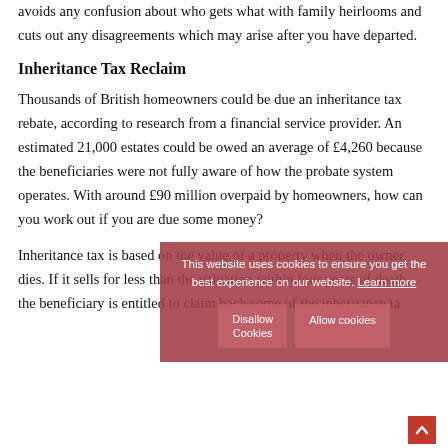avoids any confusion about who gets what with family heirlooms and cuts out any disagreements which may arise after you have departed.
Inheritance Tax Reclaim
Thousands of British homeowners could be due an inheritance tax rebate, according to research from a financial service provider. An estimated 21,000 estates could be owed an average of £4,260 because the beneficiaries were not fully aware of how the probate system operates. With around £90 million overpaid by homeowners, how can you work out if you are due some money?
Inheritance tax is based on the value of a property when the owner dies. If it sells for less than the valuation within four years of death, the beneficiary is entitled to claim back some of the inheritance ta